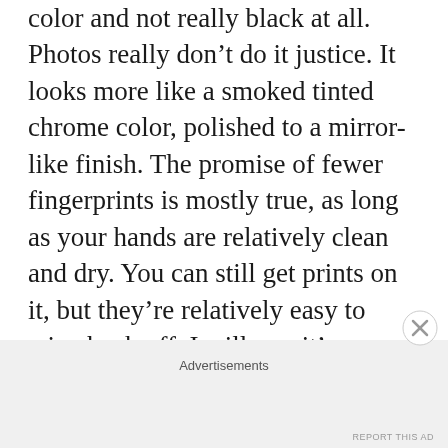color and not really black at all. Photos really don't do it justice. It looks more like a smoked tinted chrome color, polished to a mirror-like finish. The promise of fewer fingerprints is mostly true, as long as your hands are relatively clean and dry. You can still get prints on it, but they're relatively easy to wipe back off. I will say, it's a much better material than shiny glass, and the ceramic makes for the perfect material for the back panel because of its incredible strength and resistance to scratches.
Advertisements